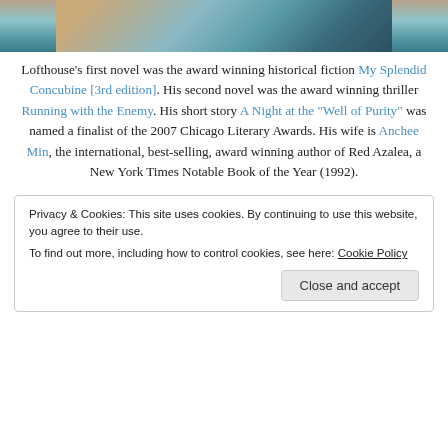[Figure (photo): Partial image of a colorful painting or photo visible at the top of the page, cropped — showing warm and cool tones (brown, blue, teal).]
Lofthouse's first novel was the award winning historical fiction My Splendid Concubine [3rd edition]. His second novel was the award winning thriller Running with the Enemy. His short story A Night at the "Well of Purity" was named a finalist of the 2007 Chicago Literary Awards. His wife is Anchee Min, the international, best-selling, award winning author of Red Azalea, a New York Times Notable Book of the Year (1992).
Privacy & Cookies: This site uses cookies. By continuing to use this website, you agree to their use.
To find out more, including how to control cookies, see here: Cookie Policy
[Close and accept button]